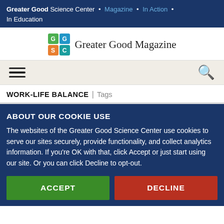Greater Good Science Center • Magazine • In Action • In Education
[Figure (logo): Greater Good Magazine logo with GGSC colored grid icon and text 'Greater Good Magazine']
[Figure (other): Navigation bar with hamburger menu icon on left and search icon on right]
WORK-LIFE BALANCE | Tags
ABOUT OUR COOKIE USE
The websites of the Greater Good Science Center use cookies to serve our sites securely, provide functionality, and collect analytics information. If you're OK with that, click Accept or just start using our site. Or you can click Decline to opt-out.
ACCEPT | DECLINE